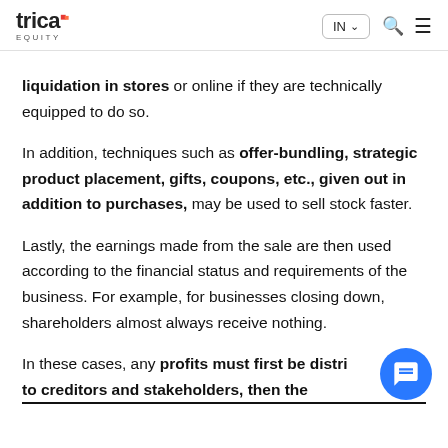trica EQUITY — IN | search | menu
liquidation in stores or online if they are technically equipped to do so.
In addition, techniques such as offer-bundling, strategic product placement, gifts, coupons, etc., given out in addition to purchases, may be used to sell stock faster.
Lastly, the earnings made from the sale are then used according to the financial status and requirements of the business. For example, for businesses closing down, shareholders almost always receive nothing.
In these cases, any profits must first be distributed to creditors and stakeholders, then the